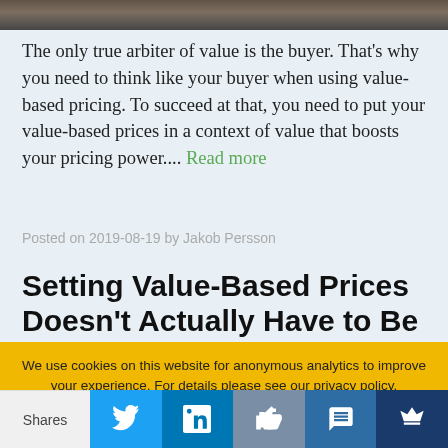[Figure (photo): Partial photo strip at top of page showing dark textured outdoor scene]
The only true arbiter of value is the buyer. That’s why you need to think like your buyer when using value-based pricing. To succeed at that, you need to put your value-based prices in a context of value that boosts your pricing power.... Read more
Posted on 2019-08-19 by Jakob Persson
Setting Value-Based Prices Doesn’t Actually Have to Be Hard
We use cookies on this website for anonymous analytics to improve your experience. For details please see our privacy policy.
Shares